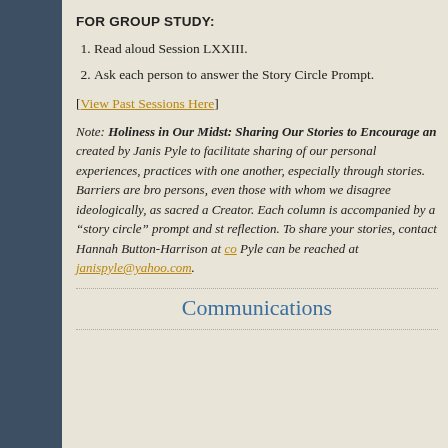FOR GROUP STUDY:
Read aloud Session LXXIII.
Ask each person to answer the Story Circle Prompt.
[View Past Sessions Here]
Note: Holiness in Our Midst: Sharing Our Stories to Encourage an... created by Janis Pyle to facilitate sharing of our personal experiences, practices with one another, especially through stories. Barriers are bro... persons, even those with whom we disagree ideologically, as sacred a... Creator. Each column is accompanied by a "story circle" prompt and st... reflection. To share your stories, contact Hannah Button-Harrison at co... Pyle can be reached at janispyle@yahoo.com.
Communications